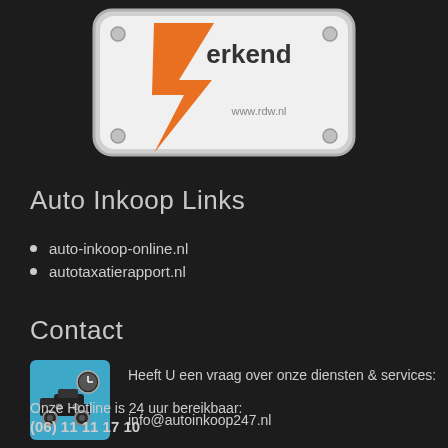[Figure (logo): RDW erkend badge with orange lightning bolt on white background with rounded corners, grey border, and www.rdw.nl text]
Auto Inkoop Links
auto-inkoop-online.nl
autotaxatierapport.nl
Contact
[Figure (illustration): Blue square icon with a car on a flatbed tow truck and a clock symbol in the top right corner]
Heeft U een vraag over onze diensten & services:

info@autoinkoop247.nl
Onze Hotline is 24 uur bereikbaar:
(06) 11 11 17 10